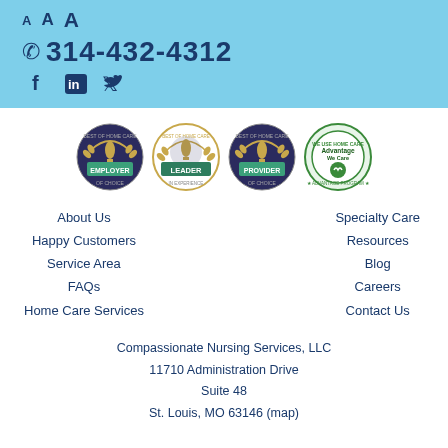A A A  ☎ 314-432-4312  f in 🐦
[Figure (logo): Four award badges: Best of Home Care - Employer of Choice, Leader in Experience, Provider of Choice, and We Use Home Care Advantage Program]
About Us
Happy Customers
Service Area
FAQs
Home Care Services
Specialty Care
Resources
Blog
Careers
Contact Us
Compassionate Nursing Services, LLC
11710 Administration Drive
Suite 48
St. Louis, MO 63146 (map)